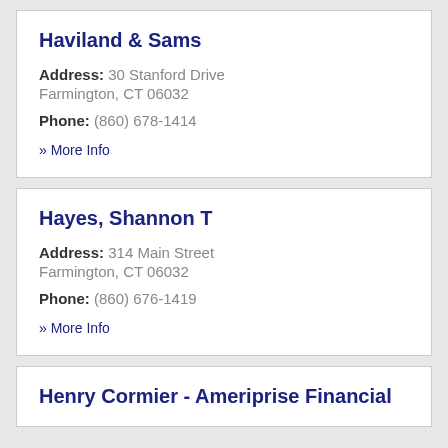Haviland & Sams
Address: 30 Stanford Drive Farmington, CT 06032
Phone: (860) 678-1414
» More Info
Hayes, Shannon T
Address: 314 Main Street Farmington, CT 06032
Phone: (860) 676-1419
» More Info
Henry Cormier - Ameriprise Financial